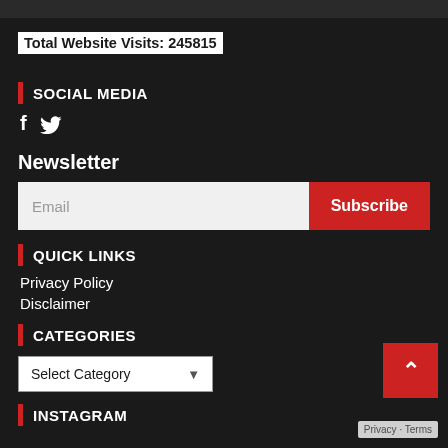Total Website Visits: 245815
SOCIAL MEDIA
[Figure (other): Social media icons: Facebook (f) and Twitter (bird icon)]
Newsletter
Email Subscribe
QUICK LINKS
Privacy Policy
Disclaimer
CATEGORIES
Select Category
INSTAGRAM